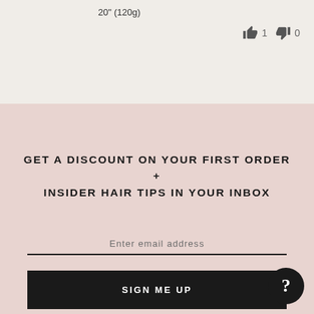20" (120g)
[Figure (other): Thumbs up icon with count 1 and thumbs down icon with count 0]
GET A DISCOUNT ON YOUR FIRST ORDER + INSIDER HAIR TIPS IN YOUR INBOX
Enter email address
SIGN ME UP
[Figure (other): Help/question mark circle button]